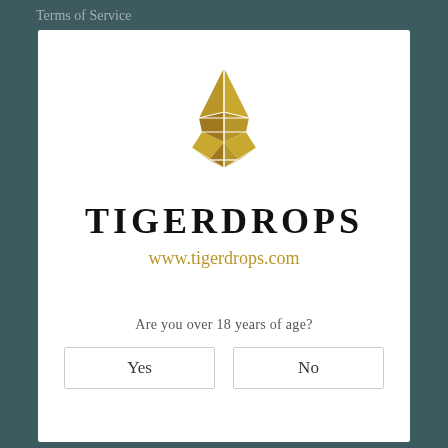Terms of Service
[Figure (logo): Tigerdrops geometric gold logo in the shape of a stylized leaf/drop composed of triangular facets]
TIGERDROPS
www.tigerdrops.com
Are you over 18 years of age?
Yes
No